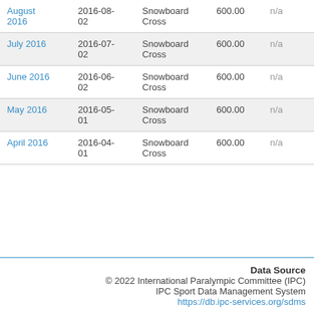| Month | Date | Sport | Points |  |
| --- | --- | --- | --- | --- |
| August 2016 | 2016-08-02 | Snowboard Cross | 600.00 | n/a |
| July 2016 | 2016-07-02 | Snowboard Cross | 600.00 | n/a |
| June 2016 | 2016-06-02 | Snowboard Cross | 600.00 | n/a |
| May 2016 | 2016-05-01 | Snowboard Cross | 600.00 | n/a |
| April 2016 | 2016-04-01 | Snowboard Cross | 600.00 | n/a |
Data Source
© 2022 International Paralympic Committee (IPC)
IPC Sport Data Management System
https://db.ipc-services.org/sdms